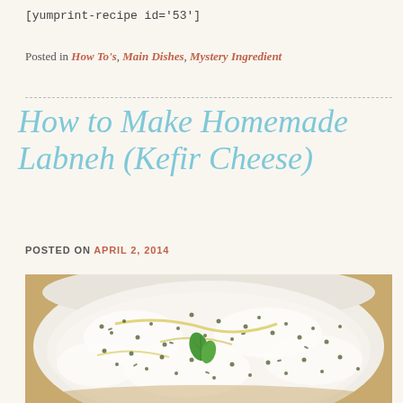[yumprint-recipe id='53']
Posted in How To's, Main Dishes, Mystery Ingredient
How to Make Homemade Labneh (Kefir Cheese)
POSTED ON APRIL 2, 2014
[Figure (photo): Close-up overhead photo of labneh (kefir cheese) in a bowl, topped with za'atar herbs, olive oil drizzle, and a fresh mint leaf]